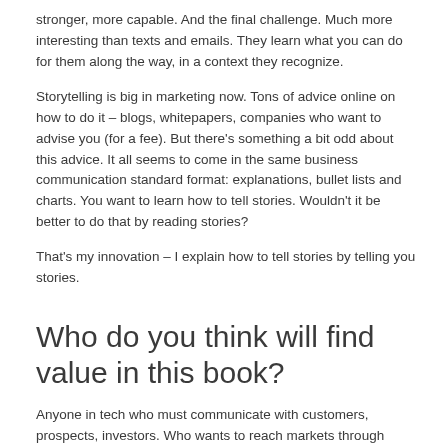stronger, more capable. And the final challenge. Much more interesting than texts and emails. They learn what you can do for them along the way, in a context they recognize.
Storytelling is big in marketing now. Tons of advice online on how to do it – blogs, whitepapers, companies who want to advise you (for a fee). But there's something a bit odd about this advice. It all seems to come in the same business communication standard format: explanations, bullet lists and charts. You want to learn how to tell stories. Wouldn't it be better to do that by reading stories?
That's my innovation – I explain how to tell stories by telling you stories.
Who do you think will find value in this book?
Anyone in tech who must communicate with customers, prospects, investors. Who wants to reach markets through blogs and white papers. Those who aspire to sell their company. All will relate to experiences in these stories. And will I hope will be inspired to re-imagine and improve their own stories, based on these examples.